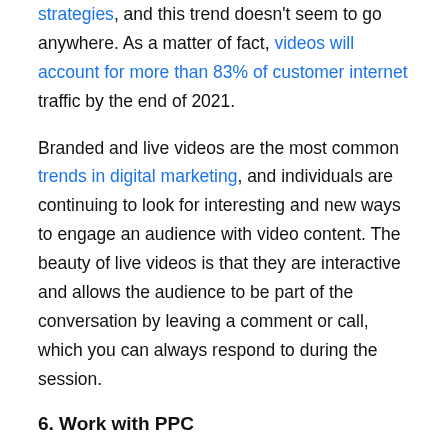strategies, and this trend doesn't seem to go anywhere. As a matter of fact, videos will account for more than 83% of customer internet traffic by the end of 2021.
Branded and live videos are the most common trends in digital marketing, and individuals are continuing to look for interesting and new ways to engage an audience with video content. The beauty of live videos is that they are interactive and allows the audience to be part of the conversation by leaving a comment or call, which you can always respond to during the session.
6. Work with PPC
This is a type of paid advertising, which helps businesses to drive sales and leads. Google Ads is among the popular PPC platforms, allowing marketers to launch ads